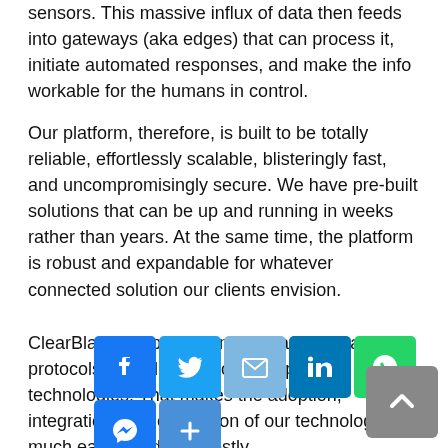sensors. This massive influx of data then feeds into gateways (aka edges) that can process it, initiate automated responses, and make the info workable for the humans in control.
Our platform, therefore, is built to be totally reliable, effortlessly scalable, blisteringly fast, and uncompromisingly secure. We have pre-built solutions that can be up and running in weeks rather than years. At the same time, the platform is robust and expandable for whatever connected solution our clients envision.
ClearBlade supports all major gateways and protocols, including legacy enterprise technologies. That makes the adoption, integration, and expansion of our technology much easier and less costly.